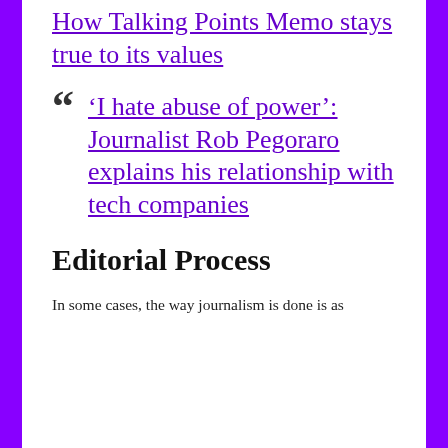How Talking Points Memo stays true to its values
‘I hate abuse of power’: Journalist Rob Pegoraro explains his relationship with tech companies
Editorial Process
In some cases, the way journalism is done is as